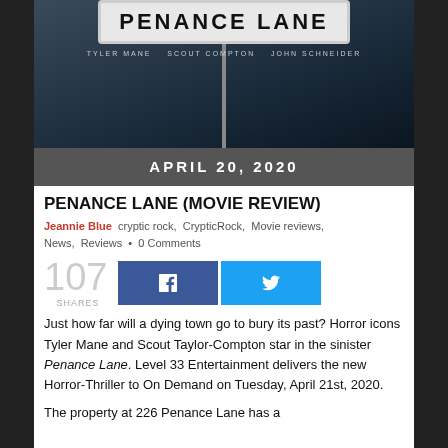[Figure (illustration): Movie poster for Penance Lane featuring a street sign reading 'PENANCE LANE' mounted on a pole against a dark, moody sky background. Cast names listed below: Tyler Mane, Scout Compton, John Schneider.]
APRIL 20, 2020
PENANCE LANE (MOVIE REVIEW)
Jeannie Blue  cryptic rock,  CrypticRock,  Movie reviews,  News,  Reviews  •  0 Comments
107 SHARES
Just how far will a dying town go to bury its past? Horror icons Tyler Mane and Scout Taylor-Compton star in the sinister Penance Lane. Level 33 Entertainment delivers the new Horror-Thriller to On Demand on Tuesday, April 21st, 2020.
The property at 226 Penance Lane has a